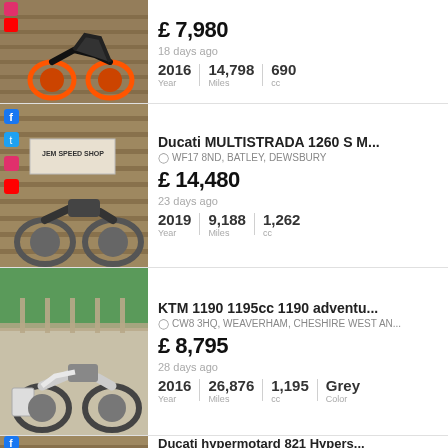[Figure (photo): Orange and black KTM motorbike parked in front of a wooden wall with social media icons. Partial listing (top cropped).]
£ 7,980
18 days ago
2016 | 14,798 | 690
Year   Miles   cc
[Figure (photo): Grey Ducati Multistrada motorcycle parked in front of a wooden wall at JEM Speed Shop, with social media icons visible.]
Ducati MULTISTRADA 1260 S M...
WF17 8ND, BATLEY, DEWSBURY
£ 14,480
23 days ago
2019 | 9,188 | 1,262
Year   Miles   cc
[Figure (photo): White and grey KTM 1190 Adventure motorcycle parked outdoors near a wooden fence with green hedgerow in background.]
KTM 1190 1195cc 1190 adventu...
CW8 3HQ, WEAVERHAM, CHESHIRE WEST AN...
£ 8,795
28 days ago
2016 | 26,876 | 1,195 | Grey
Year   Miles   cc   Color
[Figure (photo): Partial view of a Ducati Hypermotard motorcycle listing. Blue social media icon visible.]
Ducati hypermotard 821 Hypers...